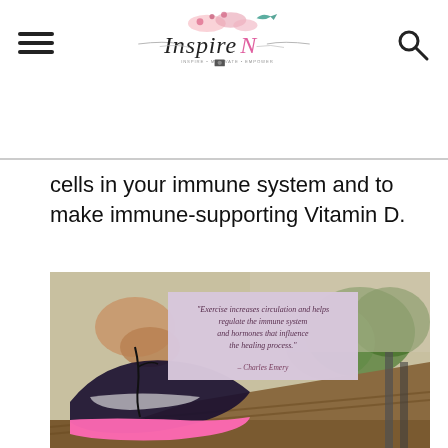InspireN logo with hamburger menu and search icon
cells in your immune system and to make immune-supporting Vitamin D.
[Figure (photo): Person tying shoelace of pink running shoe on a bench outdoors, with a quote overlay box reading: 'Exercise increases circulation and helps regulate the immune system and hormones that influence the healing process.' — Charles Emery]